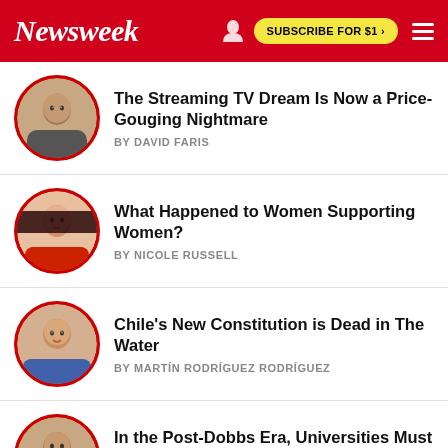Newsweek | SUBSCRIBE FOR $1 >
The Streaming TV Dream Is Now a Price-Gouging Nightmare
BY DAVID FARIS
What Happened to Women Supporting Women?
BY NICOLE RUSSELL
Chile's New Constitution is Dead in The Water
BY MARTÍN RODRÍGUEZ RODRÍGUEZ
In the Post-Dobbs Era, Universities Must Support Pregnant Students
BY LUCIA ANN SILECCHIA
When Rockets Hit Israel From Gaza, Egypt Is Partly to Blame